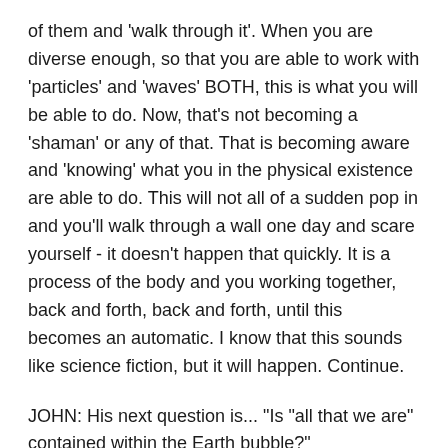of them and 'walk through it'. When you are diverse enough, so that you are able to work with 'particles' and 'waves' BOTH, this is what you will be able to do. Now, that's not becoming a 'shaman' or any of that. That is becoming aware and 'knowing' what you in the physical existence are able to do. This will not all of a sudden pop in and you'll walk through a wall one day and scare yourself - it doesn't happen that quickly. It is a process of the body and you working together, back and forth, back and forth, until this becomes an automatic. I know that this sounds like science fiction, but it will happen. Continue.
JOHN: His next question is... "Is "all that we are" contained within the Earth bubble?"
DATRE: Yes, at the present time, because you're working through a HOLOGRAPHIC existence. So, everything is here,